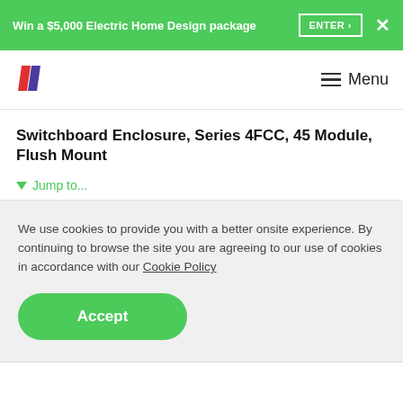Win a $5,000 Electric Home Design package  ENTER ›  ×
[Figure (logo): Stylized double-slash logo in red and dark blue/purple]
Menu
Switchboard Enclosure, Series 4FCC, 45 Module, Flush Mount
▾ Jump to...
We use cookies to provide you with a better onsite experience. By continuing to browse the site you are agreeing to our use of cookies in accordance with our Cookie Policy
Accept